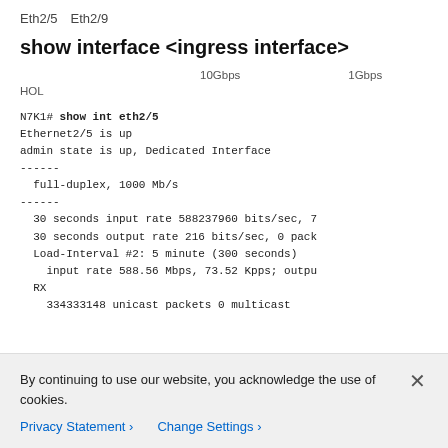Eth2/5イEth2/9イイイイ
show interface <ingress interface>
イイイイイイイイイイイイイイイ10Gbpsイイイイイイイイイ1GbpsイイイイイイイイイイイイHOLイイイイ
N7K1# show int eth2/5
Ethernet2/5 is up
admin state is up, Dedicated Interface
------
  full-duplex, 1000 Mb/s
------
  30 seconds input rate 588237960 bits/sec, 7
  30 seconds output rate 216 bits/sec, 0 pack
  Load-Interval #2: 5 minute (300 seconds)
    input rate 588.56 Mbps, 73.52 Kpps; outpu
  RX
    334333148 unicast packets 0 multicast
By continuing to use our website, you acknowledge the use of cookies.
Privacy Statement ›   Change Settings ›